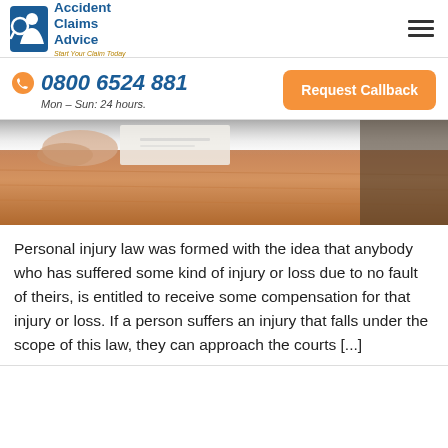[Figure (logo): Accident Claims Advice logo with blue icon and text, tagline 'Start Your Claim Today']
0800 6524 881
Mon – Sun: 24 hours.
Request Callback
[Figure (photo): Blurred photo of hands writing on paper on a wooden table]
Personal injury law was formed with the idea that anybody who has suffered some kind of injury or loss due to no fault of theirs, is entitled to receive some compensation for that injury or loss. If a person suffers an injury that falls under the scope of this law, they can approach the courts [...]